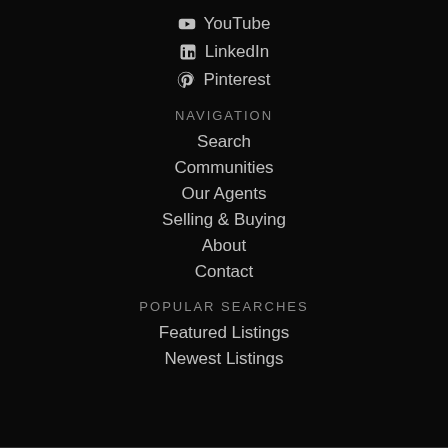YouTube
LinkedIn
Pinterest
NAVIGATION
Search
Communities
Our Agents
Selling & Buying
About
Contact
POPULAR SEARCHES
Featured Listings
Newest Listings